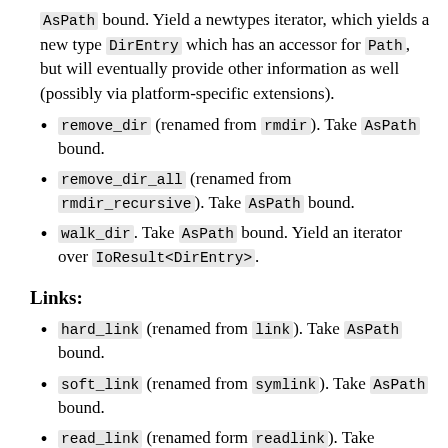AsPath bound. Yield a newtypes iterator, which yields a new type DirEntry which has an accessor for Path, but will eventually provide other information as well (possibly via platform-specific extensions).
remove_dir (renamed from rmdir). Take AsPath bound.
remove_dir_all (renamed from rmdir_recursive). Take AsPath bound.
walk_dir. Take AsPath bound. Yield an iterator over IoResult<DirEntry>.
Links:
hard_link (renamed from link). Take AsPath bound.
soft_link (renamed from symlink). Take AsPath bound.
read_link (renamed form readlink). Take AsPath bound.